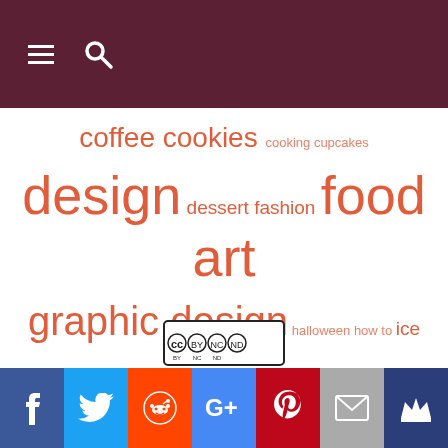Navigation header with hamburger menu and search icon
coffee cookies cooking cupcakes design dessert fashion food art graphic design halloween how to ice cream illustration japan McDonald's meat movies music oreos packaging painting photography pizza sculpture shop star wars sushi video wine wtf youtube
[Figure (logo): Creative Commons BY NC ND license badge]
Social share buttons: Facebook, Twitter, Reddit, Google+, Pinterest, Email, Crown/Blog